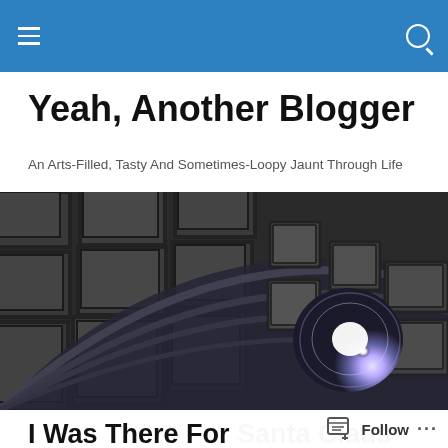Navigation bar with hamburger menu and search icon
Yeah, Another Blogger
An Arts-Filled, Tasty And Sometimes-Loopy Jaunt Through Life
[Figure (photo): Interior dome view of the Pantheon in Rome, showing coffered ceiling and oculus with bright light coming through]
I Was There For Santa Claus When He Needed My He...
Follow